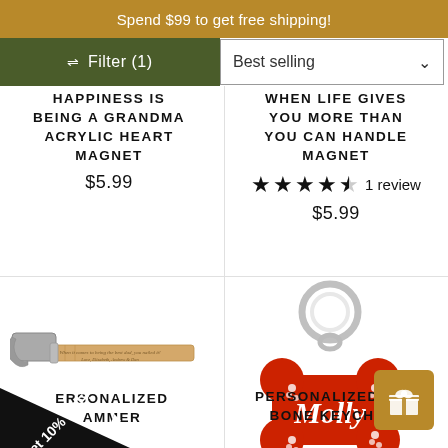Spend $99 to get free shipping!
Filter (1)
Best selling
HAPPINESS IS BEING A GRANDMA ACRYLIC HEART MAGNET
$5.99
WHEN LIFE GIVES YOU MORE THAN YOU CAN HANDLE MAGNET
1 review
$5.99
[Figure (photo): Personalized hammer with engraved wooden handle]
[Figure (photo): Personalized red bone keychain with 'Molly' inscription and paw prints, metal ring]
PERSONALIZED HAMMER
PERSONALIZED RED BONE KEYCHAIN
Get 10% OFF!